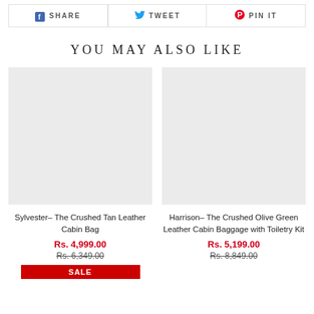[Figure (other): Social share buttons row: Facebook SHARE, Twitter TWEET, Pinterest PIN IT]
YOU MAY ALSO LIKE
[Figure (photo): Product image placeholder for Sylvester– The Crushed Tan Leather Cabin Bag (grey box)]
Sylvester– The Crushed Tan Leather Cabin Bag
Rs. 4,999.00
Rs. 6,349.00
SALE
[Figure (photo): Product image placeholder for Harrison– The Crushed Olive Green Leather Cabin Baggage with Toiletry Kit (grey box)]
Harrison– The Crushed Olive Green Leather Cabin Baggage with Toiletry Kit
Rs. 5,199.00
Rs. 8,849.00